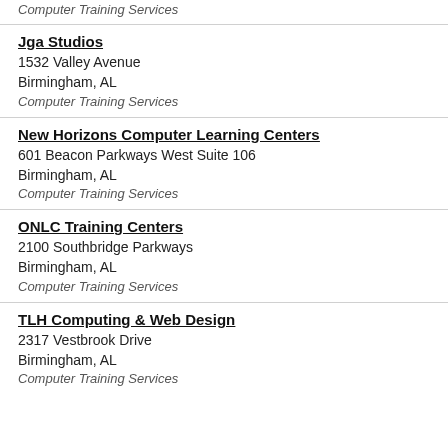Computer Training Services
Jga Studios
1532 Valley Avenue
Birmingham, AL
Computer Training Services
New Horizons Computer Learning Centers
601 Beacon Parkways West Suite 106
Birmingham, AL
Computer Training Services
ONLC Training Centers
2100 Southbridge Parkways
Birmingham, AL
Computer Training Services
TLH Computing & Web Design
2317 Vestbrook Drive
Birmingham, AL
Computer Training Services